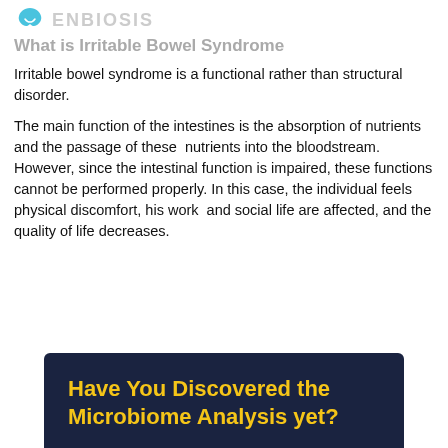ENBIOSIS
What is Irritable Bowel Syndrome
Irritable bowel syndrome is a functional rather than structural disorder.
The main function of the intestines is the absorption of nutrients and the passage of these nutrients into the bloodstream. However, since the intestinal function is impaired, these functions cannot be performed properly. In this case, the individual feels physical discomfort, his work and social life are affected, and the quality of life decreases.
[Figure (infographic): Dark navy blue banner with bold yellow text reading 'Have You Discovered the Microbiome Analysis yet?']